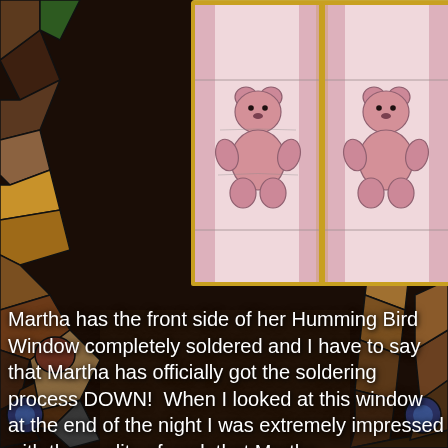[Figure (photo): Stained glass background with colorful mosaic pattern of stones/tiles in various earth tones — browns, greens, reds, oranges. Two framed stained glass panels showing pink teddy bears are visible in the upper center of the image.]
[Figure (photo): Two framed stained glass panels side by side, each featuring a pink teddy bear design on a light pink/white background with pink border strips. Gold frame visible.]
Martha has the front side of her Humming Bird Window completely soldered and I have to say that Martha has officially got the soldering process DOWN!  When I looked at this window at the end of the night I was extremely impressed with the quality of work that Martha accomplished.  She's come a long way from the night she walked in the door and she has a lot to be proud of.
[Figure (photo): Framed stained glass panel showing a hummingbird design with green leaves and a red hummingbird, on a white/cream background with dark red/maroon border tiles. Gold/wood frame visible.]